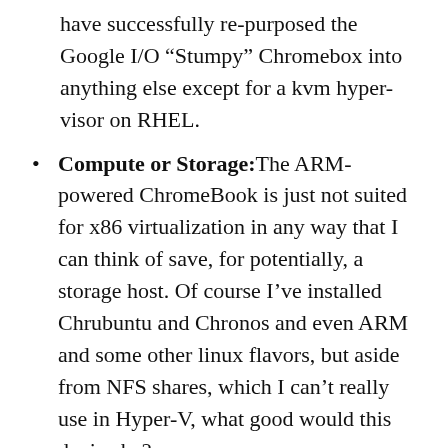have successfully re-purposed the Google I/O “Stumpy” Chromebox into anything else except for a kvm hyper-visor on RHEL.
Compute or Storage: The ARM-powered ChromeBook is just not suited for x86 virtualization in any way that I can think of save, for potentially, a storage host. Of course I’ve installed Chrubuntu and Chronos and even ARM and some other linux flavors, but aside from NFS shares, which I can’t really use in Hyper-V, what good would this device be?
Network: At least my 8 port GigE switch from Netgear is somewhat suitable for my home lab exercise. It can do LACP port channels (useful for Hyper-V hosts